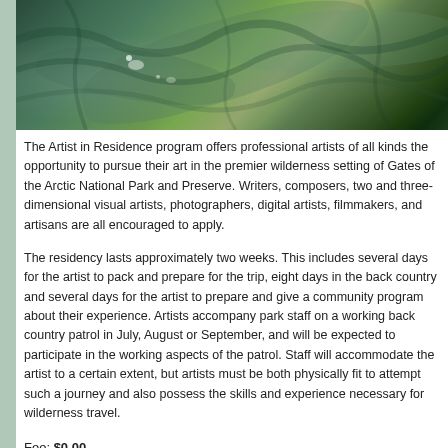[Figure (photo): Aerial or close-up photograph of a lush green wilderness landscape, showing forest and terrain from above, with swirling dark green patterns suggesting dense vegetation or rock formations.]
The Artist in Residence program offers professional artists of all kinds the opportunity to pursue their art in the premier wilderness setting of Gates of the Arctic National Park and Preserve.  Writers, composers, two and three-dimensional visual artists, photographers, digital artists, filmmakers, and artisans are all encouraged to apply.
The residency lasts approximately two weeks.  This includes several days for the artist to pack and prepare for the trip, eight days in the back country and several days for the artist to prepare and give a community program about their experience.  Artists accompany park staff on a working back country patrol in July, August or September, and will be expected to participate in the working aspects of the patrol.  Staff will accommodate the artist to a certain extent, but artists must be both physically fit to attempt such a journey and also possess the skills and experience necessary for wilderness travel.
Fee: $0.00
Entry Deadline: 11/30/16